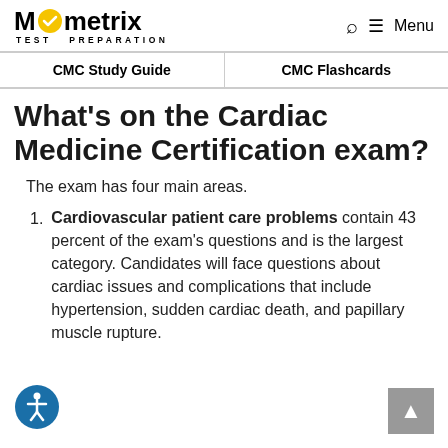Mometrix TEST PREPARATION | Menu
CMC Study Guide | CMC Flashcards
What's on the Cardiac Medicine Certification exam?
The exam has four main areas.
Cardiovascular patient care problems contain 43 percent of the exam's questions and is the largest category. Candidates will face questions about cardiac issues and complications that include hypertension, sudden cardiac death, and papillary muscle rupture.